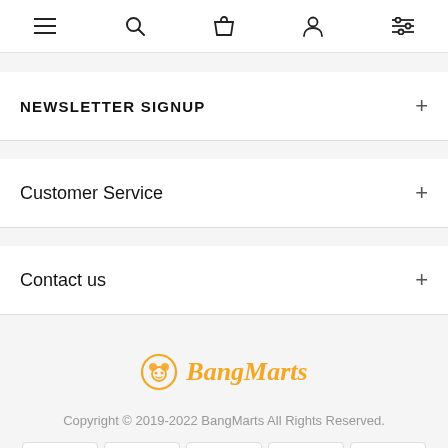[Figure (screenshot): Navigation bar with menu (hamburger), search, bag, user, and filter icons]
NEWSLETTER SIGNUP
Customer Service
Contact us
[Figure (logo): BangMarts logo with orange panda icon and italic orange text]
Copyright © 2019-2022 BangMarts All Rights Reserved.
[Figure (infographic): Payment method badges: PayPal, VISA, Mastercard, Apple Pay, Google Pay]